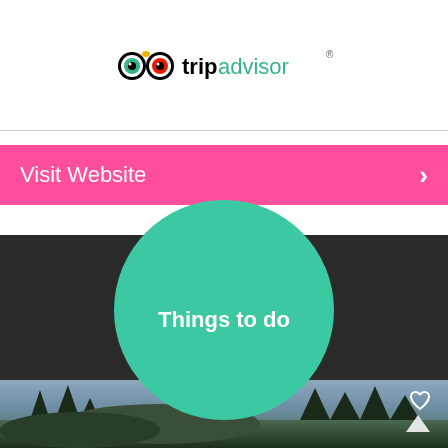[Figure (logo): TripAdvisor logo with owl icon and tripadvisor text]
Visit Website
[Figure (infographic): Teal circle with 'Things to do' text on dark background]
Similar Things to do
[Figure (photo): Landscape photo showing trees and hills under overcast sky]